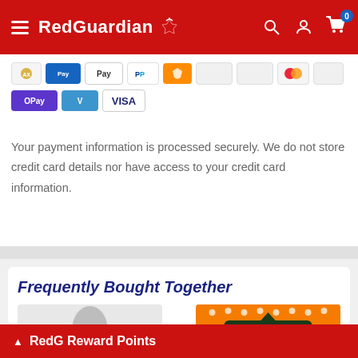RedGuardian
[Figure (other): Payment method icons: Apple Pay, American Express, Google Pay, PayPal, Shopify Pay, and others including OPay, Venmo, VISA]
Your payment information is processed securely. We do not store credit card details nor have access to your credit card information.
Frequently Bought Together
[Figure (photo): Woman wearing a gray Red Guardian t-shirt]
[Figure (photo): The Creative Clown product image on orange background]
RedG Reward Points